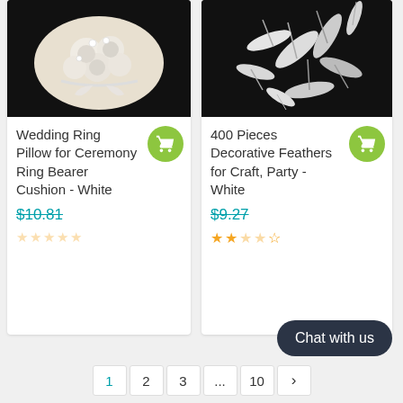[Figure (photo): Wedding ring pillow with white roses and pearl decorations on black background]
Wedding Ring Pillow for Ceremony Ring Bearer Cushion - White
$10.81
[Figure (photo): White decorative feathers scattered on black background]
400 Pieces Decorative Feathers for Craft, Party - White
$9.27
Chat with us
1  2  3  ...  10  >